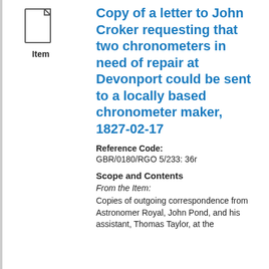[Figure (illustration): Document/Item icon: a page with folded top-right corner, with the label 'Item' below it]
Copy of a letter to John Croker requesting that two chronometers in need of repair at Devonport could be sent to a locally based chronometer maker, 1827-02-17
Reference Code: GBR/0180/RGO 5/233: 36r
Scope and Contents
From the Item:
Copies of outgoing correspondence from Astronomer Royal, John Pond, and his assistant, Thomas Taylor, at the